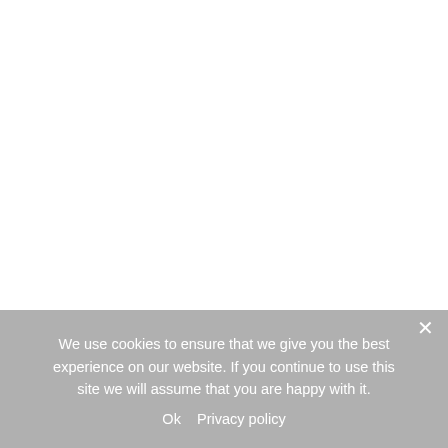We use cookies to ensure that we give you the best experience on our website. If you continue to use this site we will assume that you are happy with it.
Ok   Privacy policy